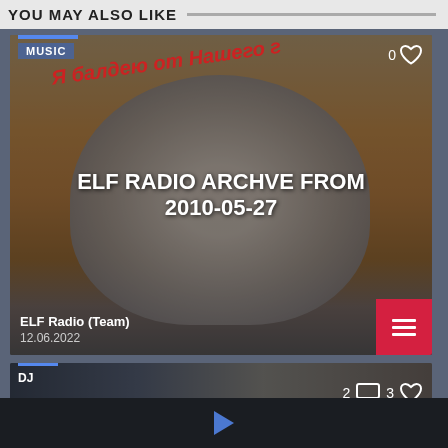YOU MAY ALSO LIKE
[Figure (screenshot): Screenshot of a media card showing a cat lying upside down in an orange pet bed. Overlaid text reads 'Я балдею от Нашего г' in red italic at the top, 'MUSIC' tag in blue top-left, '0' with heart icon top-right, center title 'ELF RADIO ARCHVE FROM 2010-05-27' in white bold, and bottom-left shows 'ELF Radio (Team)' and date '12.06.2022'. Red menu button at bottom-right.]
[Figure (screenshot): Partial screenshot of a second media card showing 'DJ' tag top-left with blue bar, '2' comment icon and '3' heart icon top-right, dark blurred background with person silhouette.]